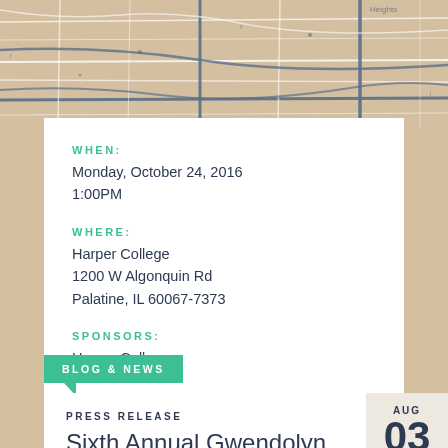[Figure (map): Street map showing road network in a tan/beige color scheme with white road lines and darker blue-gray major roads]
WHEN:
Monday, October 24, 2016
1:00PM
WHERE:
Harper College
1200 W Algonquin Rd
Palatine, IL 60067-7373
SPONSORS:
Harper College
BLOG & NEWS
PRESS RELEASE
Sixth Annual Gwendolyn
AUG
03